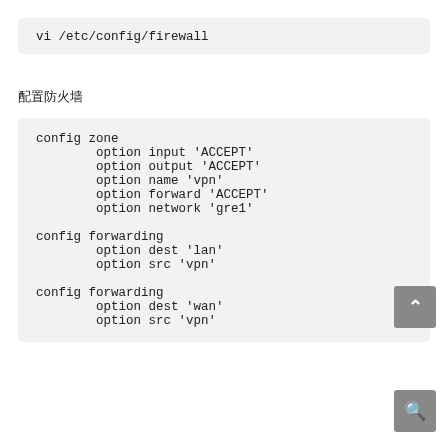vi /etc/config/firewall
配置防火墙
config zone
        option input 'ACCEPT'
        option output 'ACCEPT'
        option name 'vpn'
        option forward 'ACCEPT'
        option network 'gre1'

config forwarding
        option dest 'lan'
        option src 'vpn'

config forwarding
        option dest 'wan'
        option src 'vpn'